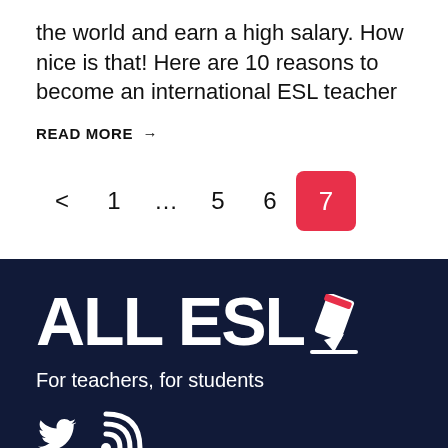the world and earn a high salary. How nice is that! Here are 10 reasons to become an international ESL teacher
READ MORE →
< 1 … 5 6 7
[Figure (logo): ALL ESL logo with pencil icon on dark navy background, tagline: For teachers, for students, with Twitter and RSS social icons below]